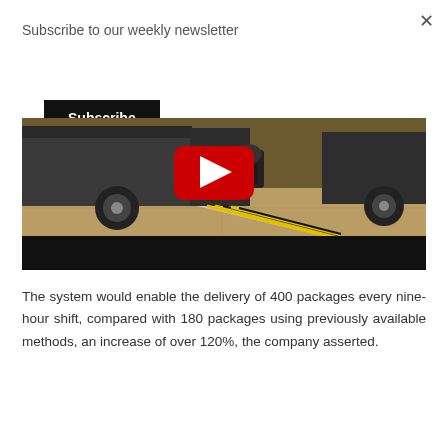Subscribe to our weekly newsletter
Subscribe
[Figure (screenshot): Video thumbnail showing a van with a ramp and a robotic delivery device, with a red YouTube play button overlay. The scene shows a dark delivery van with an extended metallic ramp and a wheeled robot at a warehouse floor.]
The system would enable the delivery of 400 packages every nine-hour shift, compared with 180 packages using previously available methods, an increase of over 120%, the company asserted.